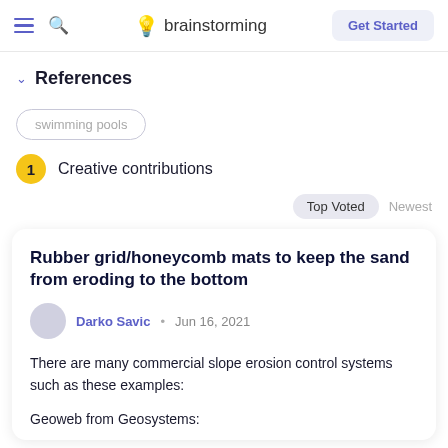brainstorming | Get Started
References
swimming pools
1 Creative contributions
Top Voted  Newest
Rubber grid/honeycomb mats to keep the sand from eroding to the bottom
Darko Savic • Jun 16, 2021
There are many commercial slope erosion control systems such as these examples:
Geoweb from Geosystems: